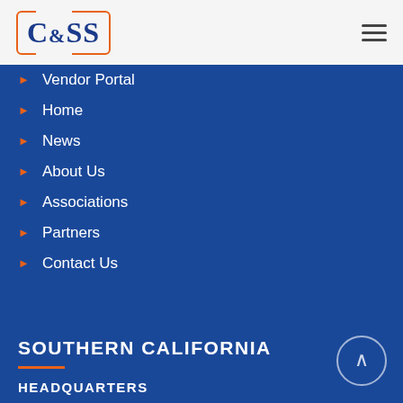C&SS logo and navigation hamburger menu
Vendor Portal
Home
News
About Us
Associations
Partners
Contact Us
SOUTHERN CALIFORNIA
HEADQUARTERS